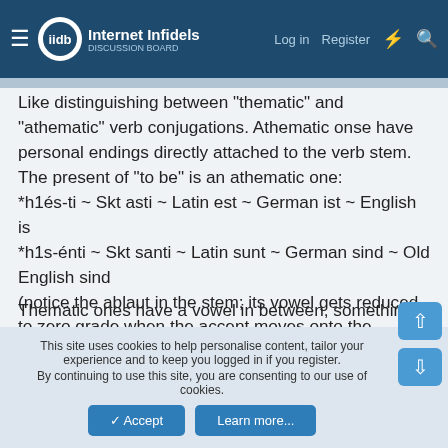Internet Infidels — Log in | Register
Like distinguishing between "thematic" and "athematic" verb conjugations. Athematic onse have personal endings directly attached to the verb stem. The present of "to be" is an athematic one:
*h1és-ti ~ Skt asti ~ Latin est ~ German ist ~ English is
*h1s-énti ~ Skt santi ~ Latin sunt ~ German sind ~ Old English sind
(notice the ablaut in the stem; its vowel gets reduced to zero grade when the accent moves onto the ending)
Thematic ones have a vowel in between, something much more common.
There are a variety of affixes that can be used to form aspects
This site uses cookies to help personalise content, tailor your experience and to keep you logged in if you register.
By continuing to use this site, you are consenting to our use of cookies.